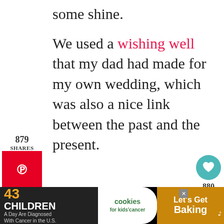some shine.
We used a wishing well that my dad had made for my own wedding, which was also a nice link between the past and the present.
[Figure (infographic): Social share sidebar with 879 SHARES count, Pinterest button (red), Facebook button (blue), Twitter button (light blue)]
[Figure (infographic): Right side panel with teal heart button, 880 count, and teal share button]
[Figure (infographic): Ad banner: 43 CHILDREN A Day Are Diagnosed With Cancer in the U.S. — cookies for kids cancer — Let's Get Baking]